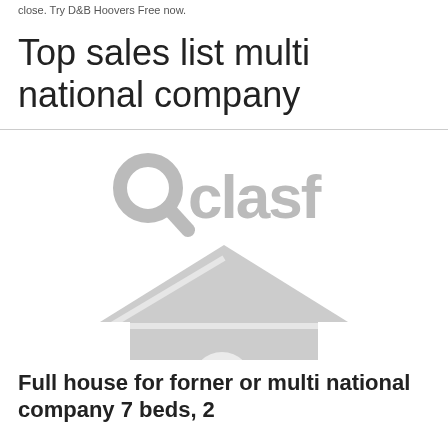close. Try D&B Hoovers Free now.
Top sales list multi national company
[Figure (logo): Clasf logo (magnifying glass with 'clasf' text) above a grey house/real-estate icon placeholder image]
Full house for forner or multi national company 7 beds, 2